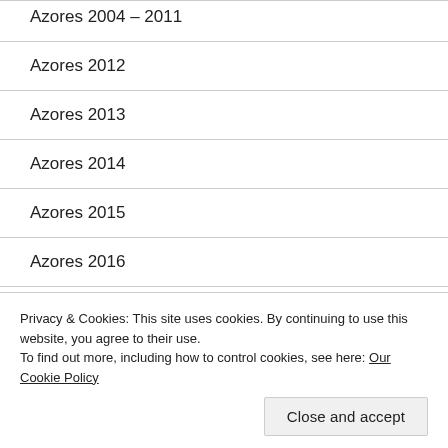Azores 2004 – 2011
Azores 2012
Azores 2013
Azores 2014
Azores 2015
Azores 2016
Azores 2018
Azores 2019
Privacy & Cookies: This site uses cookies. By continuing to use this website, you agree to their use.
To find out more, including how to control cookies, see here: Our Cookie Policy
Close and accept